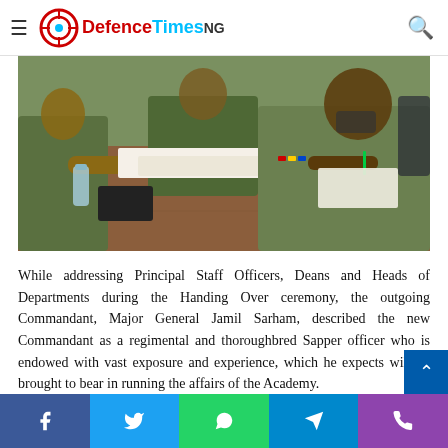DefenceTimes NG
[Figure (photo): Military officers in green camouflage uniforms seated at a wooden table during a handing over ceremony. One officer is signing documents on the right side.]
While addressing Principal Staff Officers, Deans and Heads of Departments during the Handing Over ceremony, the outgoing Commandant, Major General Jamil Sarham, described the new Commandant as a regimental and thoroughbred Sapper officer who is endowed with vast exposure and experience, which he expects will be brought to bear in running the affairs of the Academy.